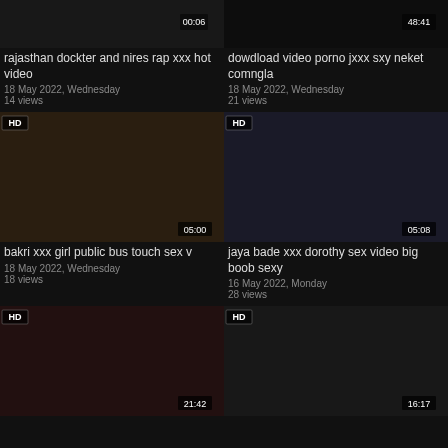[Figure (screenshot): Video thumbnail top-left, dark image, timestamp 00:06]
rajasthan dockter and nires rap xxx hot video
18 May 2022, Wednesday
14 views
[Figure (screenshot): Video thumbnail top-right, dark image, timestamp 48:41]
dowdload video porno jxxx sxy neket comngla
18 May 2022, Wednesday
21 views
[Figure (screenshot): Video thumbnail middle-left, HD badge, timestamp 05:00]
bakri xxx girl public bus touch sex v
18 May 2022, Wednesday
18 views
[Figure (screenshot): Video thumbnail middle-right, HD badge, timestamp 05:08]
jaya bade xxx dorothy sex video big boob sexy
16 May 2022, Monday
28 views
[Figure (screenshot): Video thumbnail bottom-left, HD badge, timestamp 21:42]
[Figure (screenshot): Video thumbnail bottom-right, HD badge, timestamp 16:17]